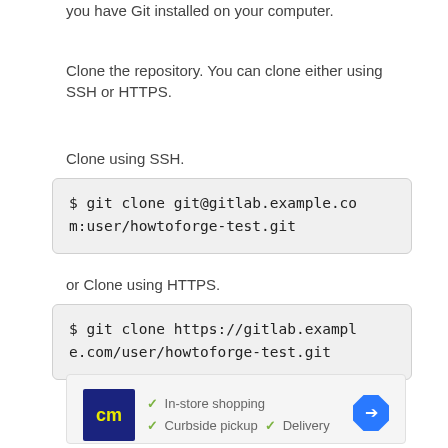you have Git installed on your computer.
Clone the repository. You can clone either using SSH or HTTPS.
Clone using SSH.
$ git clone git@gitlab.example.com:user/howtoforge-test.git
or Clone using HTTPS.
$ git clone https://gitlab.example.com/user/howtoforge-test.git
[Figure (other): Advertisement banner showing a store logo with checkmarks for In-store shopping, Curbside pickup, and Delivery, with a navigation arrow icon]